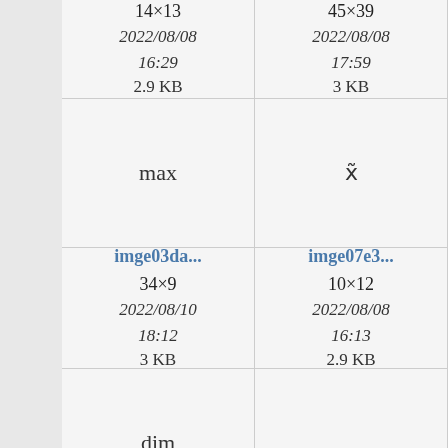| col1 | col2 | col3 |
| --- | --- | --- |
| 14×13
2022/08/08
16:29
2.9 KB | 45×39
2022/08/08
17:59
3 KB | ... |
| max | x̃ | — |
| imge03da...
34×9
2022/08/10
18:12
3 KB | imge07e3...
10×12
2022/08/08
16:13
2.9 KB | im... |
| dim |  |  |
| imge1c2d...
30×14
2022/08/10 | imge2b89...
13×15
2022/08/11 | ... |